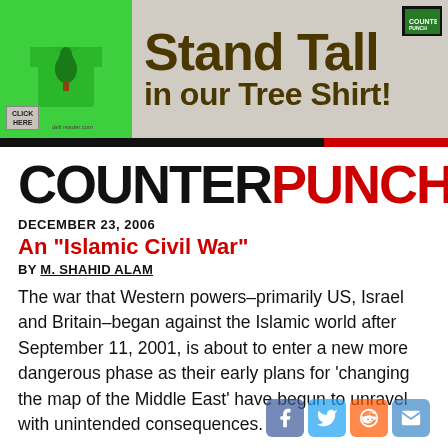[Figure (illustration): Advertisement banner for CounterPunch Tree Shirt. Green t-shirt with tree graphic on left, large dark olive text 'Stand Tall in our Tree Shirt!' on gray background. Click Here button bottom left. Logo badge top right.]
COUNTERPUNCH
DECEMBER 23, 2006
An "Islamic Civil War"
BY M. SHAHID ALAM
The war that Western powers–primarily US, Israel and Britain–began against the Islamic world after September 11, 2001, is about to enter a new more dangerous phase as their early plans for 'changing the map of the Middle East' have begun to unravel with unintended consequences.